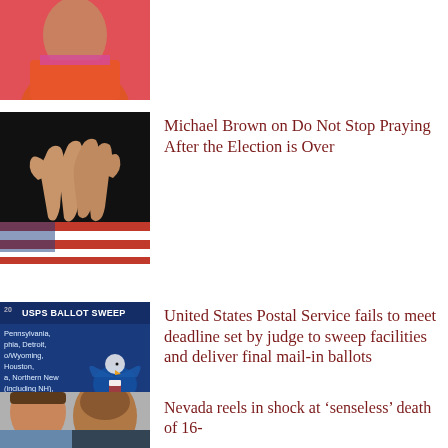[Figure (photo): Partial top image of a person wearing a colorful orange/pink top, cropped at top of page]
[Figure (photo): Hands clasped in prayer resting on an American flag, dark background]
Michael Brown on Do Not Stop Praying After the Election is Over
[Figure (screenshot): USPS Ballot Sweep graphic showing a blue background with text listing Pennsylvania, Philadelphia, Detroit, Ohio/Wyoming, Houston, New England (including NH), South Carolina, Florida Lakeland, Arizona and a USPS eagle logo]
United States Postal Service fails to meet deadline set by judge to sweep facilities and deliver final mail-in ballots
[Figure (photo): Partial photo of two people, cropped at bottom of page]
Nevada reels in shock at ‘senseless’ death of 16-